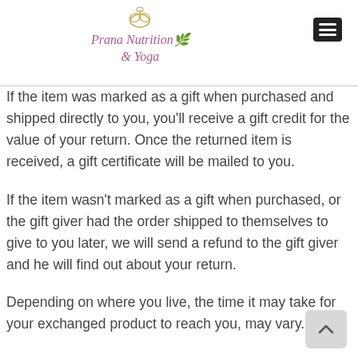Prana Nutrition & Yoga
If the item was marked as a gift when purchased and shipped directly to you, you'll receive a gift credit for the value of your return. Once the returned item is received, a gift certificate will be mailed to you.
If the item wasn't marked as a gift when purchased, or the gift giver had the order shipped to themselves to give to you later, we will send a refund to the gift giver and he will find out about your return.
Depending on where you live, the time it may take for your exchanged product to reach you, may vary.